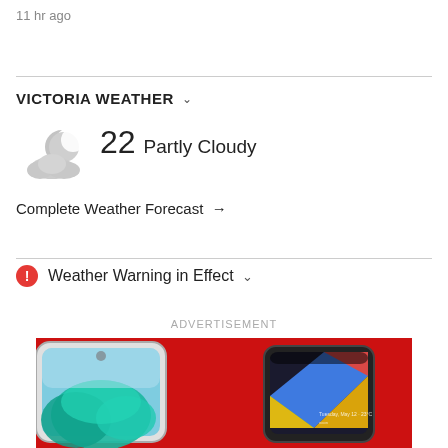11 hr ago
VICTORIA WEATHER
[Figure (illustration): Partly cloudy night weather icon — moon partially obscured by cloud]
22 Partly Cloudy
Complete Weather Forecast →
⚠ Weather Warning in Effect
ADVERTISEMENT
[Figure (photo): Advertisement showing two smartphones (Samsung Galaxy S20 FE and Google Pixel 4a) on a red background]